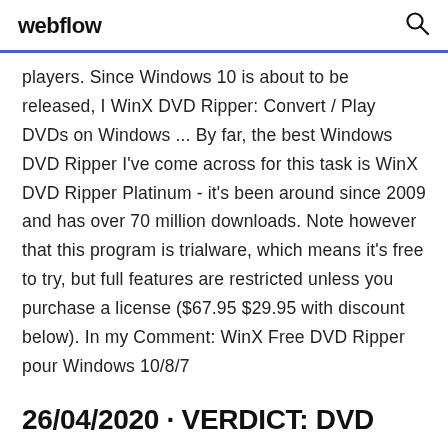webflow
players. Since Windows 10 is about to be released, I WinX DVD Ripper: Convert / Play DVDs on Windows ... By far, the best Windows DVD Ripper I've come across for this task is WinX DVD Ripper Platinum - it's been around since 2009 and has over 70 million downloads. Note however that this program is trialware, which means it's free to try, but full features are restricted unless you purchase a license ($67.95 $29.95 with discount below). In my Comment: WinX Free DVD Ripper pour Windows 10/8/7
26/04/2020 · VERDICT: DVD